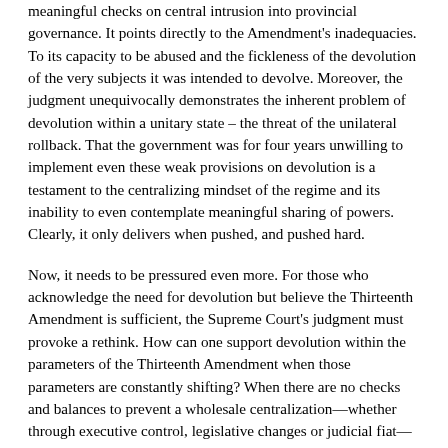meaningful checks on central intrusion into provincial governance. It points directly to the Amendment's inadequacies. To its capacity to be abused and the fickleness of the devolution of the very subjects it was intended to devolve. Moreover, the judgment unequivocally demonstrates the inherent problem of devolution within a unitary state – the threat of the unilateral rollback. That the government was for four years unwilling to implement even these weak provisions on devolution is a testament to the centralizing mindset of the regime and its inability to even contemplate meaningful sharing of powers. Clearly, it only delivers when pushed, and pushed hard.
Now, it needs to be pressured even more. For those who acknowledge the need for devolution but believe the Thirteenth Amendment is sufficient, the Supreme Court's judgment must provoke a rethink. How can one support devolution within the parameters of the Thirteenth Amendment when those parameters are constantly shifting? When there are no checks and balances to prevent a wholesale centralization—whether through executive control, legislative changes or judicial fiat—of what was previously known to be devolved? In 2006, the Supreme Court ruled against the merger of the Northern and Eastern Provinces on the instance of an extremist faction within the Sinhala community. The merger was a critical component of the Indo-Lanka Accord in that it sought to protect Tamils' right to self-governance in the face of orchestrated demographic change. Now, attempts are made to gut provisions on devolution